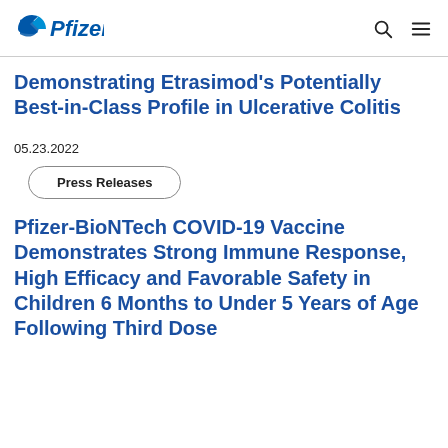Pfizer [logo] [search icon] [menu icon]
Demonstrating Etrasimod's Potentially Best-in-Class Profile in Ulcerative Colitis
05.23.2022
Press Releases
Pfizer-BioNTech COVID-19 Vaccine Demonstrates Strong Immune Response, High Efficacy and Favorable Safety in Children 6 Months to Under 5 Years of Age Following Third Dose